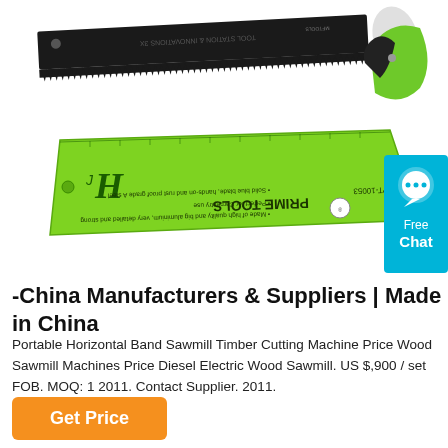[Figure (photo): Two hand saw / cutting tools product photos: top is a black-blade handsaw with green and white handle; bottom is a green metal try square/ruler with 'PRIME TOOLS' text, shown against a white background. A cyan 'Free Chat' button widget is visible on the right side.]
-China Manufacturers & Suppliers | Made in China
Portable Horizontal Band Sawmill Timber Cutting Machine Price Wood Sawmill Machines Price Diesel Electric Wood Sawmill. US $,900 / set FOB. MOQ: 1 2011. Contact Supplier. 2011.
Get Price